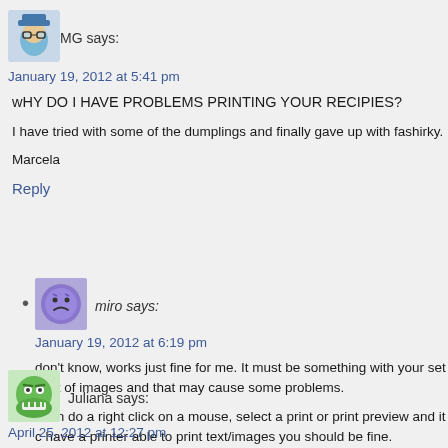[Figure (illustration): Avatar image of user MG - cartoon character with glasses]
MG says:
January 19, 2012 at 5:41 pm
wHY DO I HAVE PROBLEMS PRINTING YOUR RECIPIES?
I have tried with some of the dumplings and finally gave up with fashirky.
Marcela
Reply
[Figure (illustration): Avatar image of user miro - purple sad face emoji]
miro says:
January 19, 2012 at 6:19 pm
don't know, works just fine for me. It must be something with your set u lot of images and that may cause some problems.
I can do a right click on a mouse, select a print or print preview and it c have a printer able to print text/images you should be fine.
Reply
[Figure (illustration): Avatar image of Juliana - green monster character]
Juliana says:
April 25, 2012 at 12:27 pm